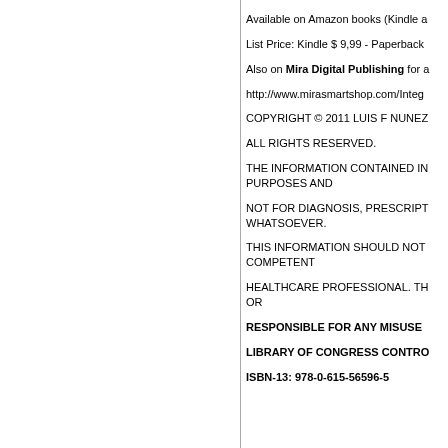Available on Amazon books (Kindle a
List Price: Kindle $ 9,99 - Paperback
Also on Mira Digital Publishing for a
http://www.mirasmartshop.com/Integ
COPYRIGHT © 2011 LUIS F NUNEZ
ALL RIGHTS RESERVED.
THE INFORMATION CONTAINED IN PURPOSES AND
NOT FOR DIAGNOSIS, PRESCRIPT WHATSOEVER.
THIS INFORMATION SHOULD NOT COMPETENT
HEALTHCARE PROFESSIONAL. TH OR
RESPONSIBLE FOR ANY MISUSE
LIBRARY OF CONGRESS CONTRO
ISBN-13: 978-0-615-56596-5